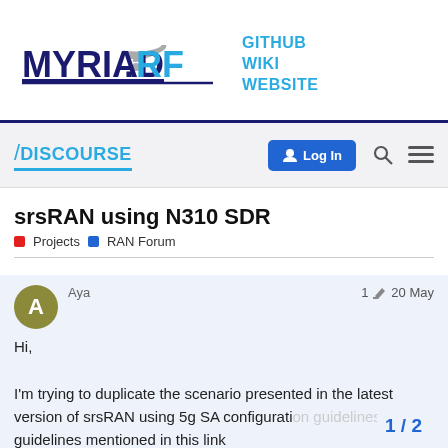[Figure (logo): Myriad-RF logo with wifi icon and underline]
GITHUB
WIKI
WEBSITE
[Figure (logo): Discourse logo with slash]
Log In
srsRAN using N310 SDR
Projects  RAN Forum
Aya
1  20 May
Hi,

I'm trying to duplicate the scenario presented in the latest version of srsRAN using 5g SA configuration guidelines mentioned in this link
1 / 2